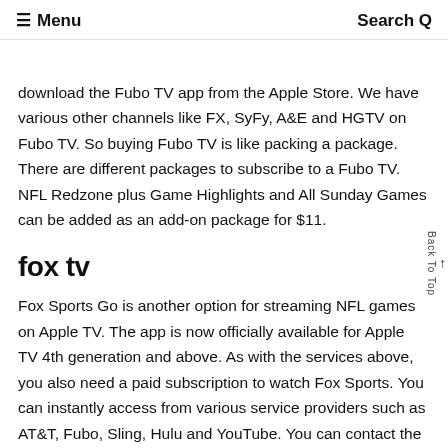≡ Menu    Search Q
download the Fubo TV app from the Apple Store. We have various other channels like FX, SyFy, A&E and HGTV on Fubo TV. So buying Fubo TV is like packing a package. There are different packages to subscribe to a Fubo TV. NFL Redzone plus Game Highlights and All Sunday Games can be added as an add-on package for $11.
fox tv
Fox Sports Go is another option for streaming NFL games on Apple TV. The app is now officially available for Apple TV 4th generation and above. As with the services above, you also need a paid subscription to watch Fox Sports. You can instantly access from various service providers such as AT&T, Fubo, Sling, Hulu and YouTube. You can contact the various service providers to receive according to your needs and wishes.